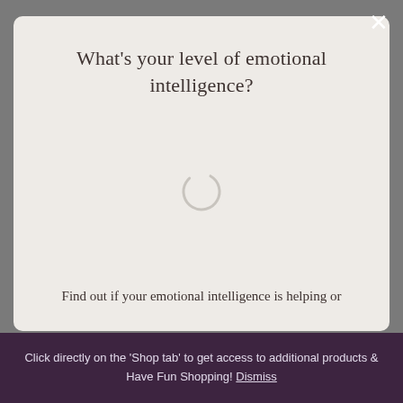What's your level of emotional intelligence?
[Figure (other): Loading spinner / circular progress indicator (arc shape, light gray)]
Find out if your emotional intelligence is helping or
Click directly on the 'Shop tab' to get access to additional products & Have Fun Shopping! Dismiss